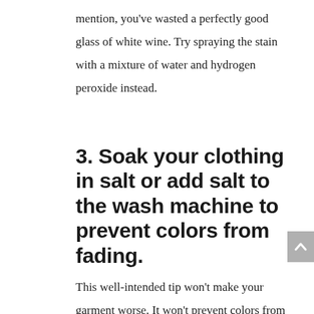mention, you've wasted a perfectly good glass of white wine. Try spraying the stain with a mixture of water and hydrogen peroxide instead.
3. Soak your clothing in salt or add salt to the wash machine to prevent colors from fading.
This well-intended tip won't make your garment worse. It won't prevent colors from